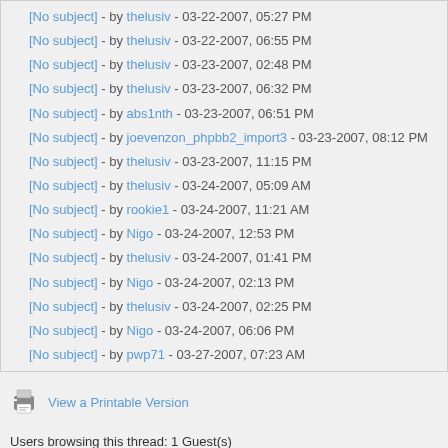[No subject] - by thelusiv - 03-22-2007, 05:27 PM
[No subject] - by thelusiv - 03-22-2007, 06:55 PM
[No subject] - by thelusiv - 03-23-2007, 02:48 PM
[No subject] - by thelusiv - 03-23-2007, 06:32 PM
[No subject] - by abs1nth - 03-23-2007, 06:51 PM
[No subject] - by joevenzon_phpbb2_import3 - 03-23-2007, 08:12 PM
[No subject] - by thelusiv - 03-23-2007, 11:15 PM
[No subject] - by thelusiv - 03-24-2007, 05:09 AM
[No subject] - by rookie1 - 03-24-2007, 11:21 AM
[No subject] - by Nigo - 03-24-2007, 12:53 PM
[No subject] - by thelusiv - 03-24-2007, 01:41 PM
[No subject] - by Nigo - 03-24-2007, 02:13 PM
[No subject] - by thelusiv - 03-24-2007, 02:25 PM
[No subject] - by Nigo - 03-24-2007, 06:06 PM
[No subject] - by pwp71 - 03-27-2007, 07:23 AM
View a Printable Version
Users browsing this thread: 1 Guest(s)
Forum Team   Contact Us   VDrift   Return to Top   Lite (Archive) Mode   Mark a
Powered By MyBB, © 2002-2022 MyBB Group.